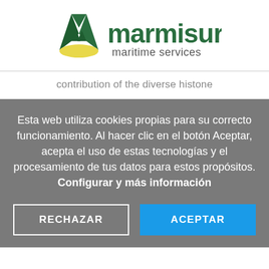[Figure (logo): Marmisur Maritime Services logo with green M icon and yellow wave, green text 'marmisur' and grey text 'maritime services']
contribution of the diverse histone
Esta web utiliza cookies propias para su correcto funcionamiento. Al hacer clic en el botón Aceptar, acepta el uso de estas tecnologías y el procesamiento de tus datos para estos propósitos. Configurar y más información
RECHAZAR
ACEPTAR